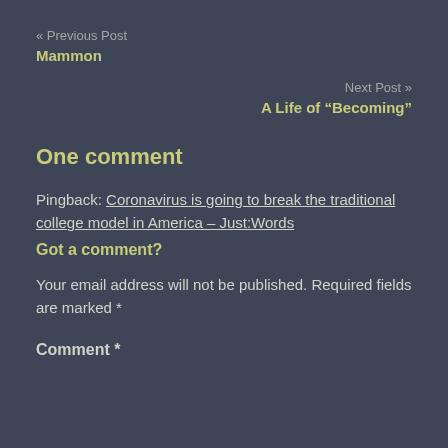« Previous Post
Mammon
Next Post »
A Life of “Becoming”
One comment
Pingback: Coronavirus is going to break the traditional college model in America – Just:Words
Got a comment?
Your email address will not be published. Required fields are marked *
Comment *